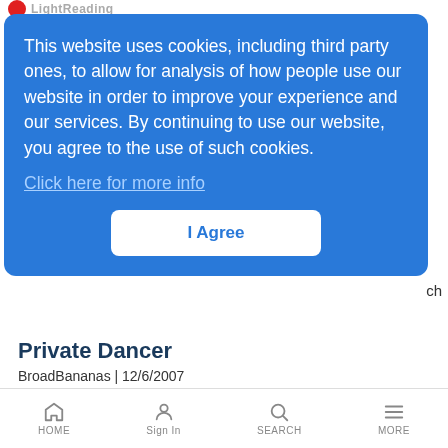[Figure (screenshot): LightReading website logo at top left — red circle with site name]
This website uses cookies, including third party ones, to allow for analysis of how people use our website in order to improve your experience and our services. By continuing to use our website, you agree to the use of such cookies.
Click here for more info
I Agree
Private Dancer
BroadBananas | 12/6/2007
Unworried about appeasing Wall Street's whims, Cox is investing in spectrum, both wired and wireless
HOME   Sign In   SEARCH   MORE